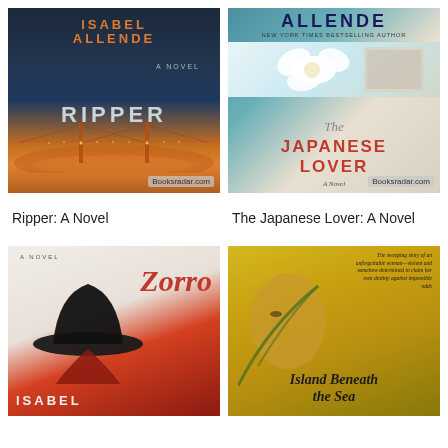[Figure (illustration): Book cover of Ripper: A Novel by Isabel Allende. Dark blue-grey foggy background with Golden Gate Bridge lit with orange lights. Author name in orange at top, title RIPPER in grey letters. Booksradar.com watermark.]
[Figure (illustration): Book cover of The Japanese Lover: A Novel by Isabel Allende. Teal/blue background with white flowers and a photograph. Author name at top, title in red and grey letters. Booksradar.com watermark.]
Ripper: A Novel
The Japanese Lover: A Novel
[Figure (illustration): Book cover of Zorro: A Novel by Isabel Allende. Light grey and red background with silhouette of man in hat. Title Zorro in red italic script. Author name Isabel at bottom.]
[Figure (illustration): Book cover of Island Beneath the Sea by Isabel Allende. Yellow/golden background with woman's face and tropical leaves. Italic script title at bottom. Small tagline text at top right.]